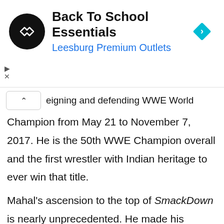[Figure (other): Advertisement banner for Back To School Essentials at Leesburg Premium Outlets, with a black circular logo with double-arrow icon and a cyan diamond navigation arrow icon on the right]
reigning and defending WWE World Champion from May 21 to November 7, 2017. He is the 50th WWE Champion overall and the first wrestler with Indian heritage to ever win that title.
Mahal's ascension to the top of SmackDown is nearly unprecedented. He made his SmackDown debut in April 2011, aligning himself with The Great Khali. He then went onto a lackluster singles career only to become one of the